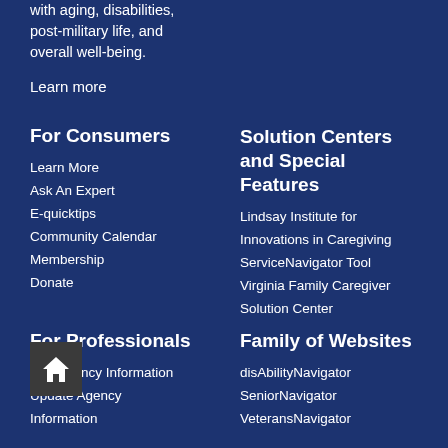with aging, disabilities, post-military life, and overall well-being.
Learn more
For Consumers
Learn More
Ask An Expert
E-quicktips
Community Calendar
Membership
Donate
Solution Centers and Special Features
Lindsay Institute for Innovations in Caregiving
ServiceNavigator Tool
Virginia Family Caregiver Solution Center
For Professionals
Add Agency Information
Update Agency Information
Family of Websites
disAbilityNavigator
SeniorNavigator
VeteransNavigator